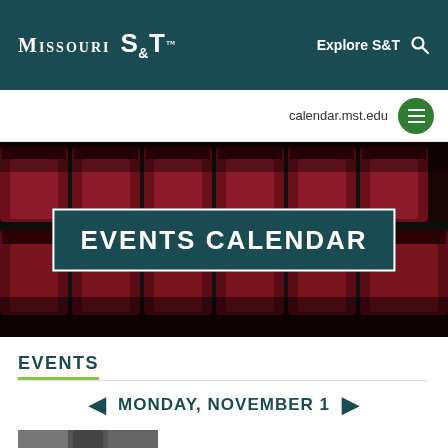Missouri S&T — Explore S&T
calendar.mst.edu
[Figure (photo): Theater/auditorium seats upholstered in dark red/maroon fabric, viewed from the front]
EVENTS CALENDAR
EVENTS
MONDAY, NOVEMBER 1
[Figure (photo): Partial bottom strip image, appears to be an event or campus photo]